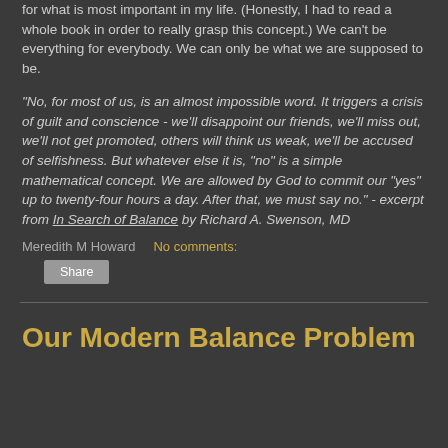for what is most important in my life. (Honestly, I had to read a whole book in order to really grasp this concept.) We can't be everything for everybody. We can only be what we are supposed to be.
"No, for most of us, is an almost impossible word. It triggers a crisis of guilt and conscience - we'll disappoint our friends, we'll miss out, we'll not get promoted, others will think us weak, we'll be accused of selfishness. But whatever else it is, "no" is a simple mathematical concept. We are allowed by God to commit our "yes" up to twenty-four hours a day. After that, we must say no." - excerpt from In Search of Balance by Richard A. Swenson, MD
Meredith M Howard    No comments:
Share
Our Modern Balance Problem